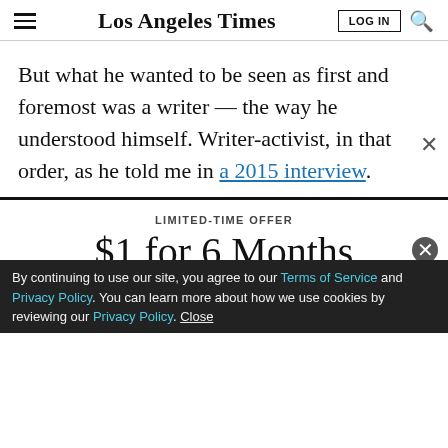Los Angeles Times
But what he wanted to be seen as first and foremost was a writer — the way he understood himself. Writer-activist, in that order, as he told me in a 2015 interview.
LIMITED-TIME OFFER
$1 for 6 Months
SUBSCRIBE NOW
By continuing to use our site, you agree to our Terms of Service and Privacy Policy. You can learn more about how we use cookies by reviewing our Privacy Policy. Close